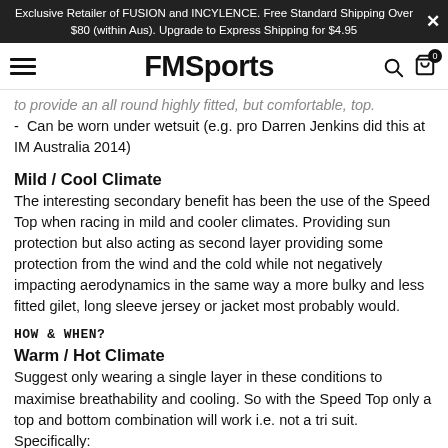Exclusive Retailer of FUSION and INCYLENCE. Free Standard Shipping Over $80 (within Aus). Upgrade to Express Shipping for $4.95
FMSports
to provide an all round highly fitted, but comfortable, top.
-  Can be worn under wetsuit (e.g. pro Darren Jenkins did this at IM Australia 2014)
Mild / Cool Climate
The interesting secondary benefit has been the use of the Speed Top when racing in mild and cooler climates. Providing sun protection but also acting as second layer providing some protection from the wind and the cold while not negatively impacting aerodynamics in the same way a more bulky and less fitted gilet, long sleeve jersey or jacket most probably would.
HOW & WHEN?
Warm / Hot Climate
Suggest only wearing a single layer in these conditions to maximise breathability and cooling. So with the Speed Top only a top and bottom combination will work i.e. not a tri suit. Specifically:
-  Swim: Two options. 1) no top i.e. swim just with bottoms (on own or under swimskin / wetsuit). 2) Speed Top and